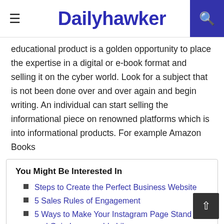Dailyhawker
educational product is a golden opportunity to place the expertise in a digital or e-book format and selling it on the cyber world. Look for a subject that is not been done over and over again and begin writing. An individual can start selling the informational piece on renowned platforms which is into informational products. For example Amazon Books
You Might Be Interested In
Steps to Create the Perfect Business Website
5 Sales Rules of Engagement
5 Ways to Make Your Instagram Page Stand Out and Gain Innumerable Likes
Top Ways Businesses Can Increase Security Levels on Their Premises